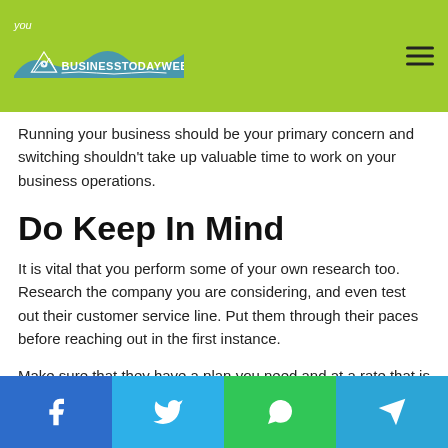you BusinessTodayWeb
Running your business should be your primary concern and switching shouldn't take up valuable time to work on your business operations.
Do Keep In Mind
It is vital that you perform some of your own research too. Research the company you are considering, and even test out their customer service line. Put them through their paces before reaching out in the first instance.
Make sure that they have a plan you need and at a rate that is worth the switch before jumping on board.
Facebook Twitter WhatsApp Telegram